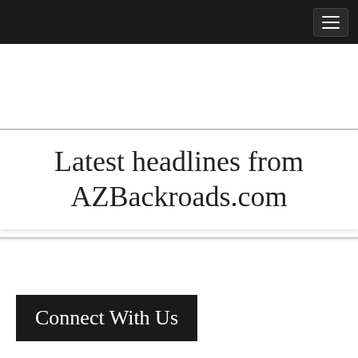Latest headlines from AZBackroads.com
Connect With Us